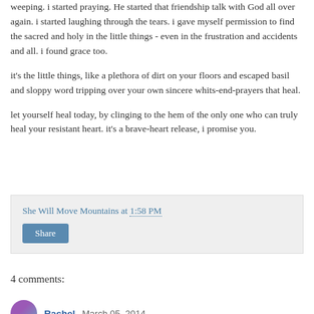weeping. i started praying. He started that friendship talk with God all over again. i started laughing through the tears. i gave myself permission to find the sacred and holy in the little things - even in the frustration and accidents and all. i found grace too.
it's the little things, like a plethora of dirt on your floors and escaped basil and sloppy word tripping over your own sincere whits-end-prayers that heal.
let yourself heal today, by clinging to the hem of the only one who can truly heal your resistant heart. it's a brave-heart release, i promise you.
She Will Move Mountains at 1:58 PM
Share
4 comments:
Rachel March 05, 2014